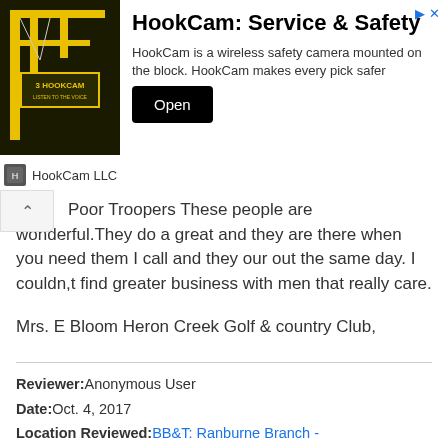[Figure (screenshot): HookCam LLC advertisement banner with photo of crane equipment, title 'HookCam: Service & Safety', description text and Open button]
Poor Troopers These people are wonderful.They do a great and they are there when you need them I call and they our out the same day. I couldn,t find greater business with men that really care.

Mrs. E Bloom Heron Creek Golf & country Club,
Reviewer: Anonymous User
Date: Oct. 4, 2017
Location Reviewed: BB&T: Ranburne Branch - Ranburne, AL
This bank has been closed for months.
1/10 ★